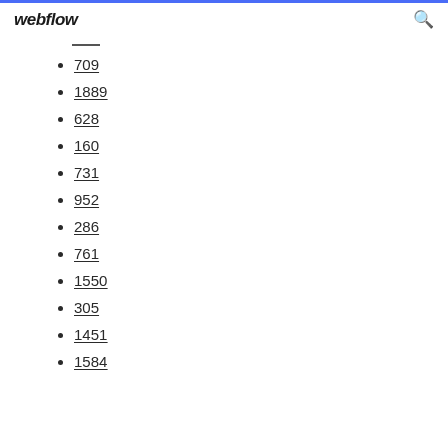webflow
709
1889
628
160
731
952
286
761
1550
305
1451
1584